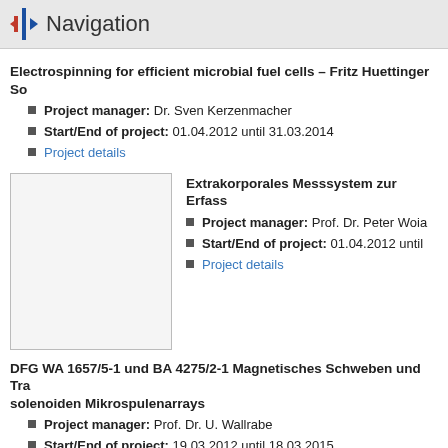Navigation
Electrospinning for efficient microbial fuel cells – Fritz Huettinger So...
Project manager: Dr. Sven Kerzenmacher
Start/End of project: 01.04.2012 until 31.03.2014
Project details
[Figure (photo): Placeholder image box for Extrakorporales Messsystem project]
Extrakorporales Messsystem zur Erfass...
Project manager: Prof. Dr. Peter Woia...
Start/End of project: 01.04.2012 until ...
Project details
DFG WA 1657/5-1 und BA 4275/2-1 Magnetisches Schweben und Tra... solenoiden Mikrospulenarrays
Project manager: Prof. Dr. U. Wallrabe
Start/End of project: 19.03.2012 until 18.03.2015
Project details
[Figure (photo): Placeholder image box for Adaptive Scanning Single Compound E... project]
Adaptive Scanning Single Compound E...